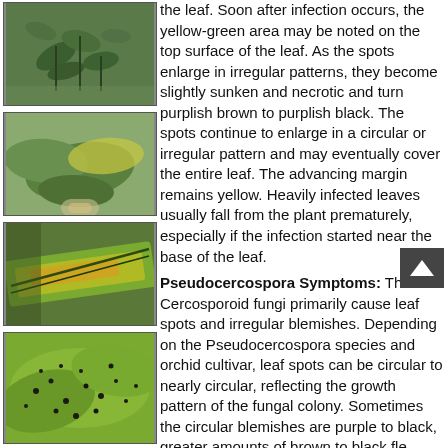[Figure (photo): Close-up photo of a plant with small green leaves on stems, showing healthy orchid foliage]
[Figure (photo): Photo of a potted orchid plant with large rounded green leaves, one leaf showing yellowish discoloration]
[Figure (photo): Close-up of an orchid leaf showing yellow and brown lesion/spot symptoms of fungal infection]
[Figure (photo): Photo of large green orchid leaves with numerous small dark brown/black spots covering the surface]
the leaf. Soon after infection occurs, the yellow-green area may be noted on the top surface of the leaf. As the spots enlarge in irregular patterns, they become slightly sunken and necrotic and turn purplish brown to purplish black. The spots continue to enlarge in a circular or irregular pattern and may eventually cover the entire leaf. The advancing margin remains yellow. Heavily infected leaves usually fall from the plant prematurely, especially if the infection started near the base of the leaf.
Pseudocercospora Symptoms: The Cercosporoid fungi primarily cause leaf spots and irregular blemishes. Depending on the Pseudocercospora species and orchid cultivar, leaf spots can be circular to nearly circular, reflecting the growth pattern of the fungal colony. Sometimes the circular blemishes are purple to black, greater amounts of brown to black fle forming as the spots enlarge. Other species of Pseudocercospora cause smaller, irregular blemishes generally in large